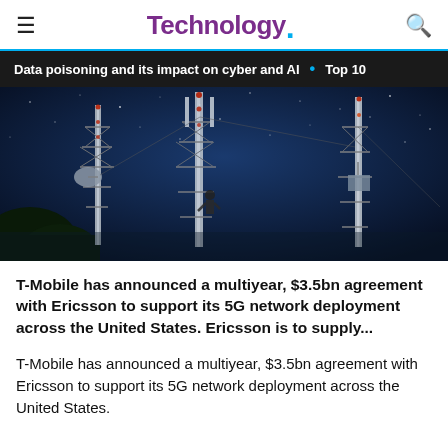Technology.
Data poisoning and its impact on cyber and AI  •  Top 10
[Figure (photo): Nighttime photo of telecommunications towers and antenna masts against a dark blue starry sky, with trees visible in the lower left.]
T-Mobile has announced a multiyear, $3.5bn agreement with Ericsson to support its 5G network deployment across the United States. Ericsson is to supply...
T-Mobile has announced a multiyear, $3.5bn agreement with Ericsson to support its 5G network deployment across the United States.